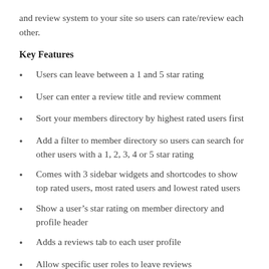and review system to your site so users can rate/review each other.
Key Features
Users can leave between a 1 and 5 star rating
User can enter a review title and review comment
Sort your members directory by highest rated users first
Add a filter to member directory so users can search for other users with a 1, 2, 3, 4 or 5 star rating
Comes with 3 sidebar widgets and shortcodes to show top rated users, most rated users and lowest rated users
Show a user’s star rating on member directory and profile header
Adds a reviews tab to each user profile
Allow specific user roles to leave reviews